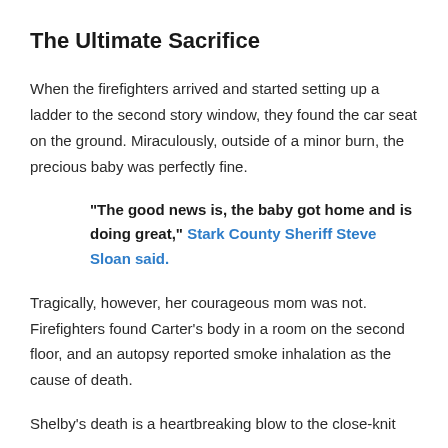The Ultimate Sacrifice
When the firefighters arrived and started setting up a ladder to the second story window, they found the car seat on the ground. Miraculously, outside of a minor burn, the precious baby was perfectly fine.
"The good news is, the baby got home and is doing great," Stark County Sheriff Steve Sloan said.
Tragically, however, her courageous mom was not. Firefighters found Carter's body in a room on the second floor, and an autopsy reported smoke inhalation as the cause of death.
Shelby's death is a heartbreaking blow to the close-knit